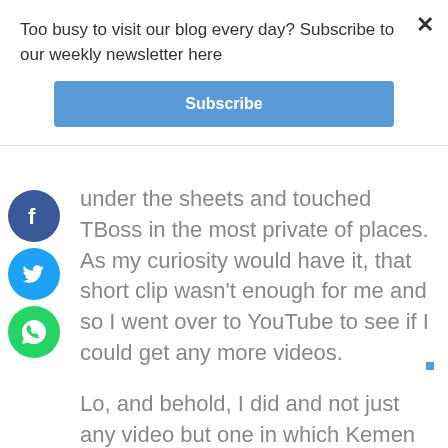Too busy to visit our blog every day? Subscribe to our weekly newsletter here
Subscribe
under the sheets and touched TBoss in the most private of places. As my curiosity would have it, that short clip wasn't enough for me and so I went over to YouTube to see if I could get any more videos.
Lo, and behold, I did and not just any video but one in which Kemen claimed said that was his normal way of sleeping. He went on and on defending himself in front of the housemates.